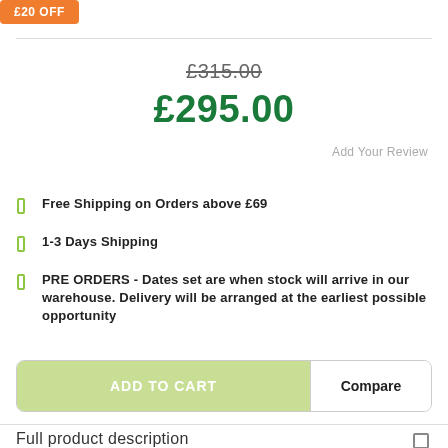£20 OFF
£315.00
£295.00
Add Your Review
Free Shipping on Orders above £69
1-3 Days Shipping
PRE ORDERS - Dates set are when stock will arrive in our warehouse. Delivery will be arranged at the earliest possible opportunity
ADD TO CART
Compare
Full product description